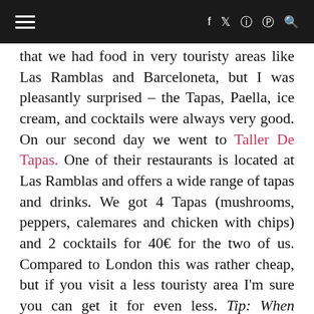≡  f  y  ⊙  ℗  🔍
that we had food in very touristy areas like Las Ramblas and Barceloneta, but I was pleasantly surprised – the Tapas, Paella, ice cream, and cocktails were always very good. On our second day we went to Taller De Tapas. One of their restaurants is located at Las Ramblas and offers a wide range of tapas and drinks. We got 4 Tapas (mushrooms, peppers, calamares and chicken with chips) and 2 cocktails for 40€ for the two of us. Compared to London this was rather cheap, but if you visit a less touristy area I'm sure you can get it for even less. Tip: When planning a day trip make sure to bring plenty of water and a few snacks to save